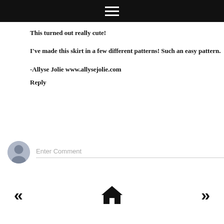☰
This turned out really cute!
I've made this skirt in a few different patterns! Such an easy pattern.
-Allyse Jolie www.allysejolie.com
Reply
[Figure (other): User avatar placeholder icon (gray circle with silhouette) next to an Enter Comment input field]
[Figure (other): Navigation bar with left double-arrow, home icon, and right double-arrow]